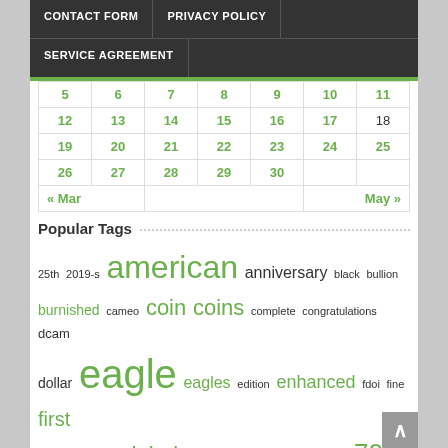CONTACT FORM | PRIVACY POLICY | SERVICE AGREEMENT
| 5 | 6 | 7 | 8 | 9 | 10 | 11 |
| 12 | 13 | 14 | 15 | 16 | 17 | 18 |
| 19 | 20 | 21 | 22 | 23 | 24 | 25 |
| 26 | 27 | 28 | 29 | 30 |  |  |
« Mar    May »
Popular Tags
25th  2019-s  american  anniversary  black  bullion  burnished  cameo  coin  coins  complete  congratulations  dcam  dollar  eagle  eagles  edition  enhanced  fdoi  fine  first  flag  gold  issue  label  mercanti  mint  ms69  ms70  ounce  pcgs  pf70  pf70uc  pr70  presale  proof  rare  reverse